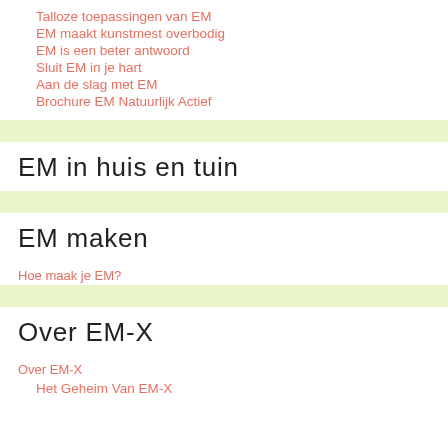Talloze toepassingen van EM
EM maakt kunstmest overbodig
EM is een beter antwoord
Sluit EM in je hart
Aan de slag met EM
Brochure EM Natuurlijk Actief
EM in huis en tuin
EM maken
Hoe maak je EM?
Over EM-X
Over EM-X
Het Geheim Van EM-X